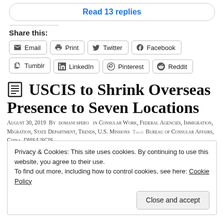Read 13 replies
Share this:
Email  Print  Twitter  Facebook  Tumblr  LinkedIn  Pinterest  Reddit
USCIS to Shrink Overseas Presence to Seven Locations
August 30, 2019  By  domani spero  in  Consular Work, Federal Agencies, Immigration, Migration, State Department, Trends, U.S. Missions  Tags:  Bureau of Consular Affairs, China, DHS/USCIS,
Privacy & Cookies: This site uses cookies. By continuing to use this website, you agree to their use.
To find out more, including how to control cookies, see here: Cookie Policy
Close and accept